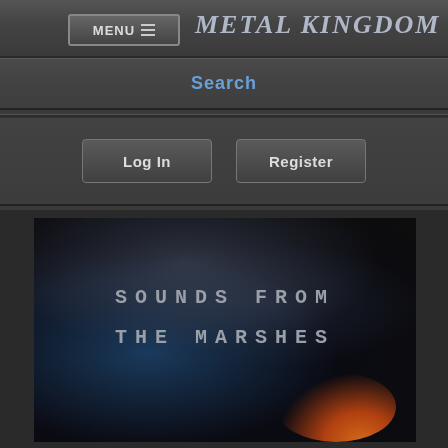MENU ≡  Metal Kingdom
Search
Log In
Register
[Figure (illustration): Album cover artwork showing stormy dark clouds with orange/fire glow at bottom right, with the text 'SOUNDS FROM THE MARSHES' overlaid in monospace uppercase letters]